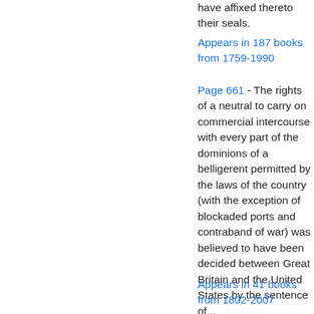have affixed thereto their seals.
Appears in 187 books from 1759-1990
Page 661 - The rights of a neutral to carry on commercial intercourse with every part of the dominions of a belligerent permitted by the laws of the country (with the exception of blockaded ports and contraband of war) was believed to have been decided between Great Britain and the United States by the sentence of...
Appears in 41 books from 1802-2007